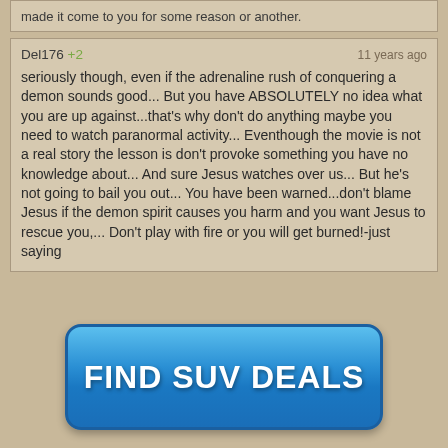made it come to you for some reason or another.
Del176 +2   11 years ago
seriously though, even if the adrenaline rush of conquering a demon sounds good... But you have ABSOLUTELY no idea what you are up against...that's why don't do anything maybe you need to watch paranormal activity... Eventhough the movie is not a real story the lesson is don't provoke something you have no knowledge about... And sure Jesus watches over us... But he's not going to bail you out... You have been warned...don't blame Jesus if the demon spirit causes you harm and you want Jesus to rescue you,... Don't play with fire or you will get burned!-just saying
[Figure (other): Blue advertisement button with text FIND SUV DEALS]